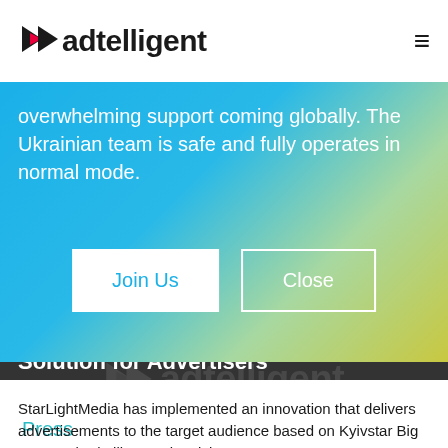adtelligent
overwhelming support coming globally. The Ukrainian team is safe and fully operates in normal mode.
Join Us   Close
Launches New Big Data Based Solution for Advertisers
Press
StarLightMedia has implemented an innovation that delivers advertisements to the target audience based on Kyivstar Big Data and Adtelligent advertising